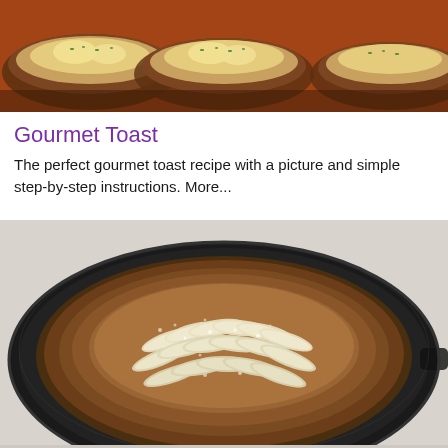[Figure (photo): Close-up photo of gourmet toast slices with melted cheese and green onion topping on a reddish-brown surface]
Gourmet Toast
The perfect gourmet toast recipe with a picture and simple step-by-step instructions. More...
[Figure (photo): Dutch baby pancake or skillet pastry in a black cast iron pan, dusted with powdered sugar and topped with sliced apples arranged in a pattern]